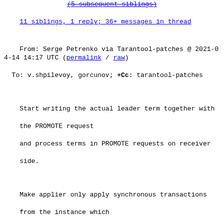(5 subsequent siblings)
11 siblings, 1 reply; 36+ messages in thread
From: Serge Petrenko via Tarantool-patches @ 2021-04-14 14:17 UTC (permalink / raw)
  To: v.shpilevoy, gorcunov; +Cc: tarantool-patches
Start writing the actual leader term together with the PROMOTE request
and process terms in PROMOTE requests on receiver side.
Make applier only apply synchronous transactions from the instance which
has the greatest term as received in PROMOTE requests.
Closes #5445
---
...very => qsync-multi-statement-recovery.md}  | 0
changelogs/unreleased/raft-promote.md          | 4 +
src/box/applier.cc                             | 28 ++
src/box/box.cc                                 | 24 +-
src/lib/raft/raft.c                            | 1 +
src/lib/raft/raft.h                            |